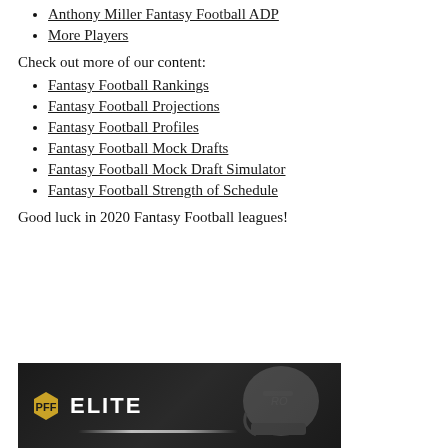Anthony Miller Fantasy Football ADP
More Players
Check out more of our content:
Fantasy Football Rankings
Fantasy Football Projections
Fantasy Football Profiles
Fantasy Football Mock Drafts
Fantasy Football Mock Draft Simulator
Fantasy Football Strength of Schedule
Good luck in 2020 Fantasy Football leagues!
[Figure (illustration): PFF Elite banner advertisement with dark background, PFF hexagon logo, ELITE text in white, football helmet silhouette, and glowing light bar]